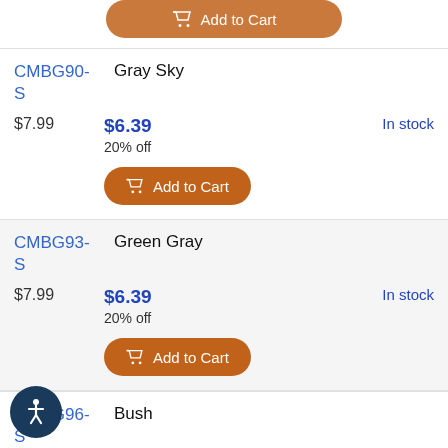[Figure (other): Partial orange Add to Cart button at the top of the page (cropped from previous row)]
CMBG90-S
Gray Sky
$7.99
$6.39
20% off
In stock
[Figure (other): Orange Add to Cart button with shopping cart icon]
CMBG93-S
Green Gray
$7.99
$6.39
20% off
In stock
[Figure (other): Orange Add to Cart button with shopping cart icon]
CMBG96-S
Bush
[Figure (other): Accessibility icon button — circular dark blue button with person/accessibility symbol]